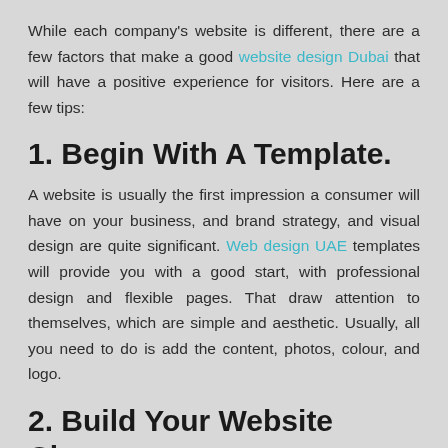While each company's website is different, there are a few factors that make a good website design Dubai that will have a positive experience for visitors. Here are a few tips:
1. Begin With A Template.
A website is usually the first impression a consumer will have on your business, and brand strategy, and visual design are quite significant. Web design UAE templates will provide you with a good start, with professional design and flexible pages. That draw attention to themselves, which are simple and aesthetic. Usually, all you need to do is add the content, photos, colour, and logo.
2. Build Your Website Clean